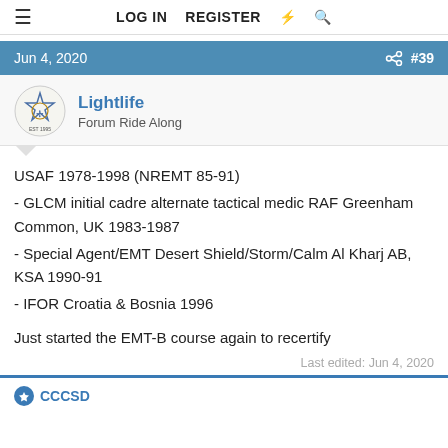LOG IN   REGISTER
Jun 4, 2020   #39
Lightlife
Forum Ride Along
USAF 1978-1998 (NREMT 85-91)
- GLCM initial cadre alternate tactical medic RAF Greenham Common, UK 1983-1987
- Special Agent/EMT Desert Shield/Storm/Calm Al Kharj AB, KSA 1990-91
- IFOR Croatia & Bosnia 1996

Just started the EMT-B course again to recertify
Last edited: Jun 4, 2020
CCCSD